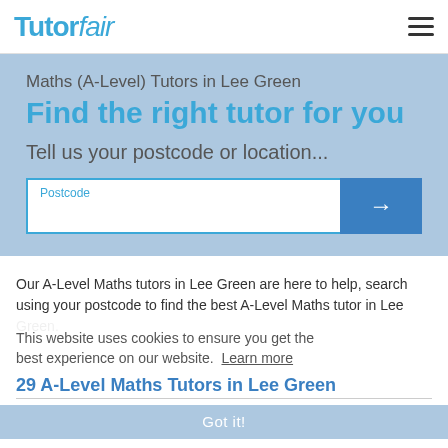TutorFair
Maths (A-Level) Tutors in Lee Green
Find the right tutor for you
Tell us your postcode or location...
Postcode
Our A-Level Maths tutors in Lee Green are here to help, search using your postcode to find the best A-Level Maths tutor in Lee Green.
This website uses cookies to ensure you get the best experience on our website. Learn more
29 A-Level Maths Tutors in Lee Green
Got it!
Louis K